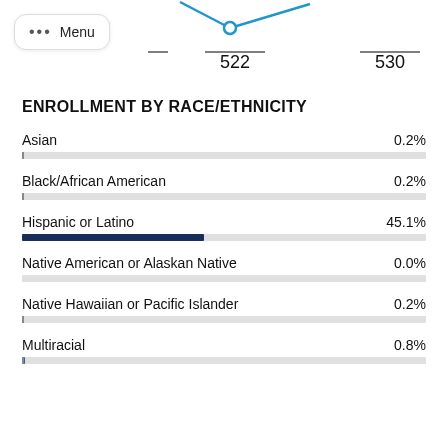[Figure (line-chart): Partial line chart visible at top of page showing values 522 and 530 on x-axis with a blue line and dot marker]
ENROLLMENT BY RACE/ETHNICITY
[Figure (bar-chart): Enrollment by Race/Ethnicity]